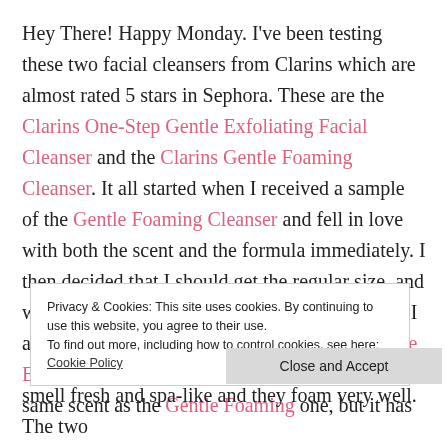Hey There! Happy Monday. I've been testing these two facial cleansers from Clarins which are almost rated 5 stars in Sephora. These are the Clarins One-Step Gentle Exfoliating Facial Cleanser and the Clarins Gentle Foaming Cleanser. It all started when I received a sample of the Gentle Foaming Cleanser and fell in love with both the scent and the formula immediately. I then decided that I should get the regular size, and while checking out other products from Clarins, I also fell in love with the Clarins One-Step Gentle Exfoliating Cleanser, which basically has the same scent as the Gentle Foaming one, but it has
Privacy & Cookies: This site uses cookies. By continuing to use this website, you agree to their use. To find out more, including how to control cookies, see here: Cookie Policy
Close and Accept
smell fresh and spa-like and they foam very well. The two